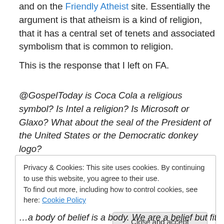and on the Friendly Atheist site. Essentially the argument is that atheism is a kind of religion, that it has a central set of tenets and associated symbolism that is common to religion.
This is the response that I left on FA.
@GospelToday is Coca Cola a religious symbol? Is Intel a religion? Is Microsoft or Glaxo? What about the seal of the President of the United States or the Democratic donkey logo?
Privacy & Cookies: This site uses cookies. By continuing to use this website, you agree to their use.
To find out more, including how to control cookies, see here: Cookie Policy
…a body of belief is a body. We are a belief but fit for a discipline…